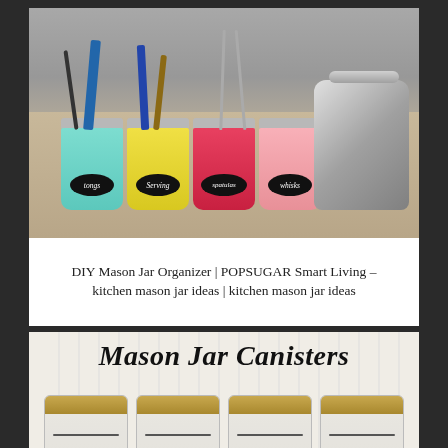[Figure (photo): Colorful painted mason jars (teal, yellow, red, pink) used as kitchen utensil organizers on a countertop, labeled with chalkboard oval labels reading tongs, serving, spatulas, whisks. A stainless steel kettle is visible on the right.]
DIY Mason Jar Organizer | POPSUGAR Smart Living – kitchen mason jar ideas | kitchen mason jar ideas
[Figure (photo): Second image showing four large mason jar canisters with gold lids on a beadboard background, with cursive text 'Mason Jar Canisters' written above them.]